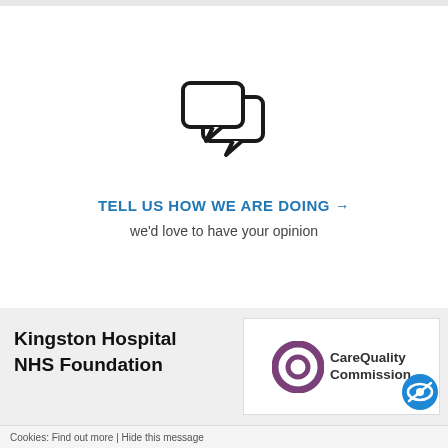[Figure (illustration): Two overlapping speech/chat bubble icons in outline style, indicating feedback or communication]
TELL US HOW WE ARE DOING →
we'd love to have your opinion
Kingston Hospital NHS Foundation
[Figure (logo): Care Quality Commission logo with a purple Q circle icon and a blue eye-with-slash badge]
Cookies: Find out more | Hide this message